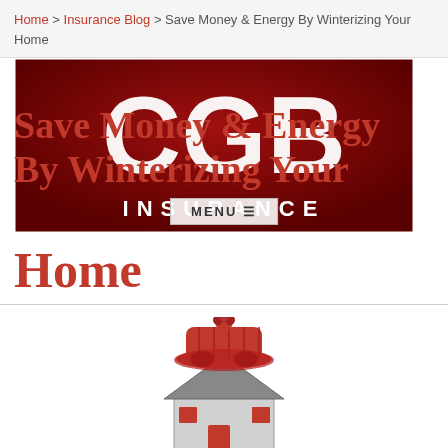Home > Insurance Blog > Save Money & Energy By Winterizing Your Home
[Figure (logo): CGB Insurance company logo — dark red background with large white letters CGB and INSURANCE text below]
Save Money & Energy By Winterizing Your Home
[Figure (photo): A small house model wearing a red winter knit hat with pompom, symbolizing home winterization]